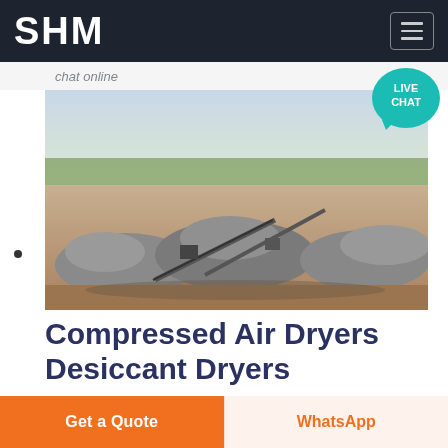SHM
chat online
[Figure (photo): Aerial view of a quarry/mining site with large piles of crushed stone/gravel, conveyor systems, machinery, trees and arid landscape in the background]
Compressed Air Dryers Desiccant Dryers
Van Air Systems In line Desiccant Dryers supply a 40°F
Get a Quote
WhatsApp